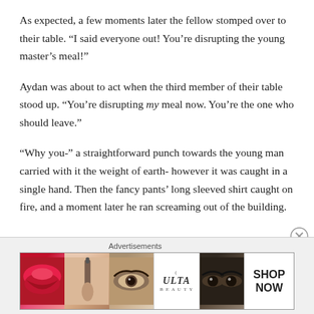As expected, a few moments later the fellow stomped over to their table. “I said everyone out! You’re disrupting the young master's meal!"
Aydan was about to act when the third member of their table stood up. “You’re disrupting my meal now. You’re the one who should leave."
“Why you-” a straightforward punch towards the young man carried with it the weight of earth- however it was caught in a single hand. Then the fancy pants’ long sleeved shirt caught on fire, and a moment later he ran screaming out of the building.
[Figure (infographic): Ulta Beauty advertisement banner showing close-up photos of lips with red lipstick, a makeup brush, an eye with makeup, the Ulta Beauty logo, close-up eyes with dark makeup, and a SHOP NOW button.]
Advertisements